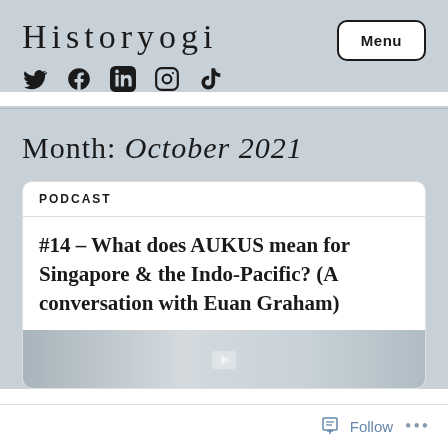Historyogi
Menu
Social icons: Twitter, Facebook, LinkedIn, Instagram, TikTok
Month: October 2021
PODCAST
#14 – What does AUKUS mean for Singapore & the Indo-Pacific? (A conversation with Euan Graham)
Follow ...